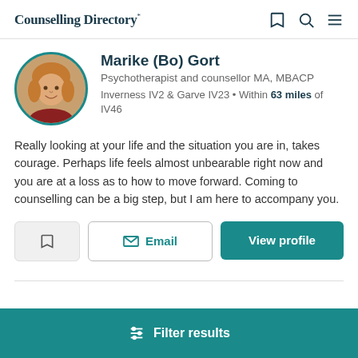Counselling Directory
Marike (Bo) Gort
Psychotherapist and counsellor MA, MBACP
Inverness IV2 & Garve IV23 • Within 63 miles of IV46
Really looking at your life and the situation you are in, takes courage. Perhaps life feels almost unbearable right now and you are at a loss as to how to move forward. Coming to counselling can be a big step, but I am here to accompany you.
Filter results